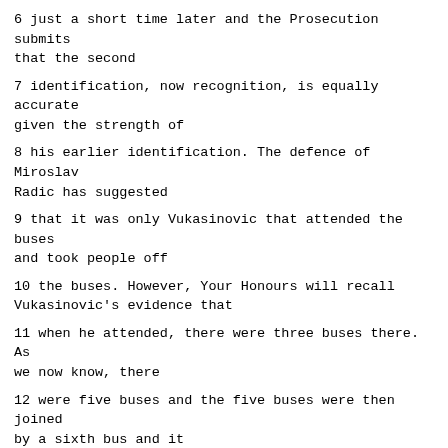6 just a short time later and the Prosecution submits that the second
7 identification, now recognition, is equally accurate given the strength of
8 his earlier identification. The defence of Miroslav Radic has suggested
9 that it was only Vukasinovic that attended the buses and took people off
10 the buses. However, Your Honours will recall Vukasinovic's evidence that
11 when he attended, there were three buses there. As we now know, there
12 were five buses and the five buses were then joined by a sixth bus and it
13 was then the reselection process took place. And therefore the
14 testimonies of P30 and Vukasinovic are not mutually exclusive and on that
15 basis it can be inferred that Radic and Vukasinovic, perhaps both
16 participated in that reselection process.